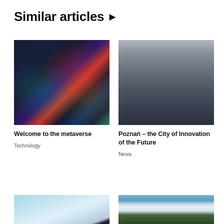Similar articles ▶
[Figure (photo): Woman wearing a VR headset in profile view, with colorful bokeh lights in the background]
Welcome to the metaverse
Technology
[Figure (photo): Person standing on a VR platform in an office room, with other people around, wearing a VR headset and gesturing]
Poznań – the City of Innovation of the Future
News
[Figure (photo): Papers or documents with space/galaxy theme on a light blue background]
[Figure (photo): Landscape with mountains and cloudy sky, green valley below]